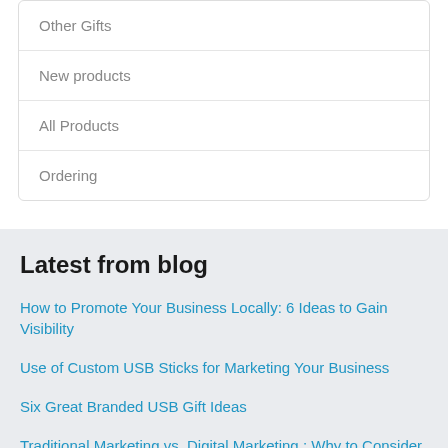Other Gifts
New products
All Products
Ordering
Latest from blog
How to Promote Your Business Locally: 6 Ideas to Gain Visibility
Use of Custom USB Sticks for Marketing Your Business
Six Great Branded USB Gift Ideas
Traditional Marketing vs. Digital Marketing : Why to Consider Both